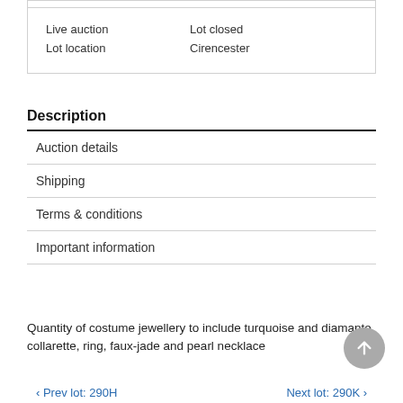| Field | Value |
| --- | --- |
| Live auction | Lot closed |
| Lot location | Cirencester |
Description
Auction details
Shipping
Terms & conditions
Important information
Quantity of costume jewellery to include turquoise and diamante collarette, ring, faux-jade and pearl necklace
< Prev lot: 290H    Next lot: 290K >